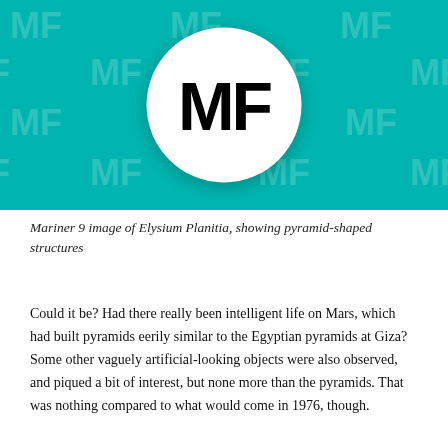[Figure (logo): Mental Floss logo: teal/turquoise background with repeated watermark 'MF' text, and a large white circle in the center containing bold black 'MF' letters]
Mariner 9 image of Elysium Planitia, showing pyramid-shaped structures
Could it be? Had there really been intelligent life on Mars, which had built pyramids eerily similar to the Egyptian pyramids at Giza? Some other vaguely artificial-looking objects were also observed, and piqued a bit of interest, but none more than the pyramids. That was nothing compared to what would come in 1976, though.